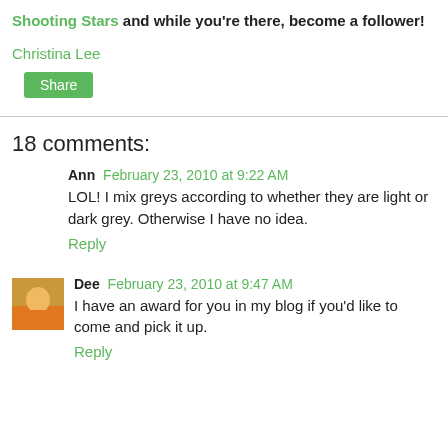Shooting Stars and while you're there, become a follower!
Christina Lee
Share
18 comments:
Ann  February 23, 2010 at 9:22 AM
LOL! I mix greys according to whether they are light or dark grey. Otherwise I have no idea.
Reply
Dee  February 23, 2010 at 9:47 AM
I have an award for you in my blog if you'd like to come and pick it up.
Reply